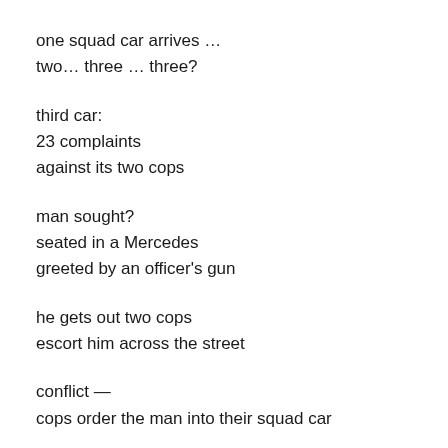one squad car arrives …
two… three … three?
third car:
23 complaints
against its two cops
man sought?
seated in a Mercedes
greeted by an officer's gun
he gets out two cops
escort him across the street
conflict —
cops order the man into their squad car